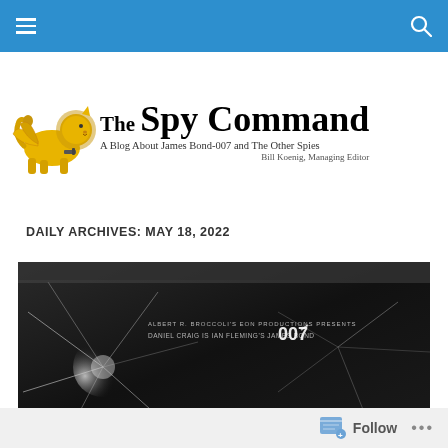The Spy Command — navigation bar with menu and search icons
The Spy Command
A Blog About James Bond-007 and The Other Spies
Bill Koenig, Managing Editor
DAILY ARCHIVES: MAY 18, 2022
[Figure (photo): Black and white close-up photograph of shattered or cracked glass with text overlay: ALBERT R. BROCCOLI'S EON PRODUCTIONS PRESENTS DANIEL CRAIG IS IAN FLEMING'S JAMES BOND 007]
Follow ...